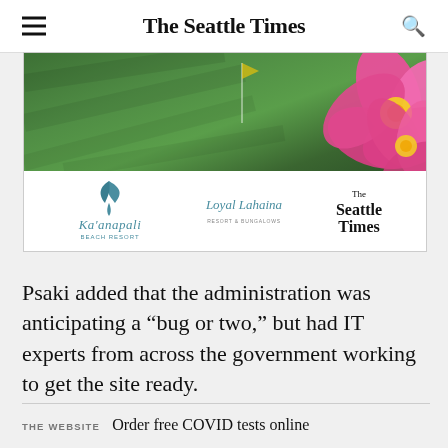The Seattle Times
[Figure (photo): Advertisement banner for Kaanapali Beach Resort featuring a golf course with green grass and a pink tropical flower (plumeria) in the upper right. Below the image are three logos: Kaanapali Beach Resort, Loyal Lahaina Resort & Bungalows, and The Seattle Times.]
Psaki added that the administration was anticipating a “bug or two,” but had IT experts from across the government working to get the site ready.
THE WEBSITE   Order free COVID tests online